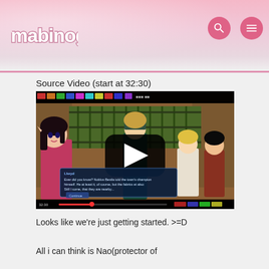mabinogi
Source Video (start at 32:30)
[Figure (screenshot): Video thumbnail of Mabinogi gameplay showing anime-style characters in a desert town area with a YouTube-style play button overlay and dialog box visible at the bottom]
Looks like we're just getting started. >=D
All i can think is Nao(protector of